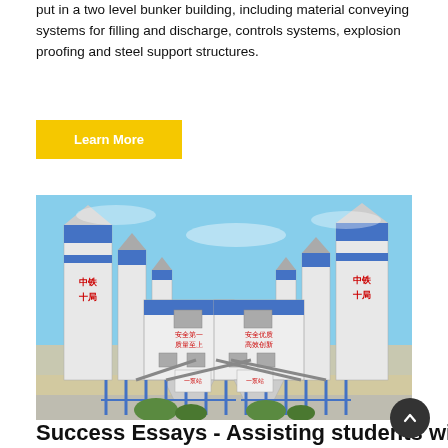put in a two level bunker building, including material conveying systems for filling and discharge, controls systems, explosion proofing and steel support structures.
Learn More
[Figure (photo): Industrial concrete batching plant with large white and blue cylindrical silos, mixing towers with Chinese text (中铁十局), blue steel support structures, and a clear blue sky background.]
Success Essays - Assisting students with